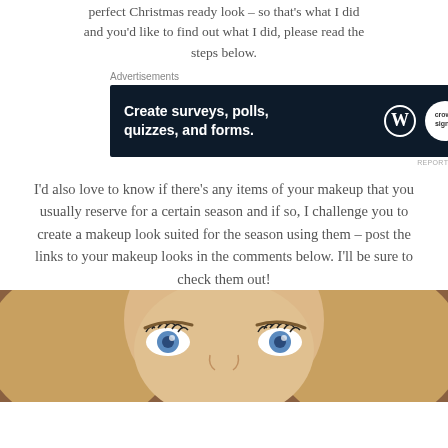perfect Christmas ready look – so that's what I did and you'd like to find out what I did, please read the steps below.
[Figure (screenshot): Advertisement banner for WordPress surveys/forms tool with dark navy background reading 'Create surveys, polls, quizzes, and forms.' with WordPress and Crowdsignal logos]
I'd also love to know if there's any items of your makeup that you usually reserve for a certain season and if so, I challenge you to create a makeup look suited for the season using them – post the links to your makeup looks in the comments below. I'll be sure to check them out!
[Figure (photo): Close-up portrait photo of a blonde woman with striking blue eyes and mascara, looking directly at the camera]